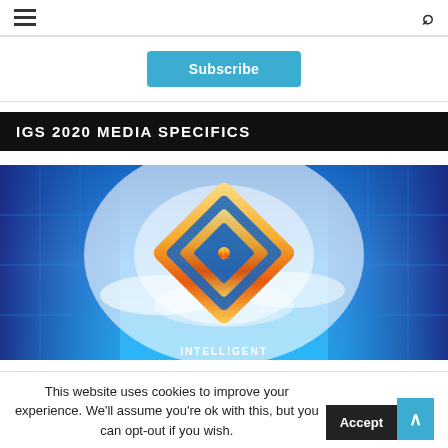≡  🔍
Subscribe
IGS 2020 MEDIA SPECIFICS
[Figure (illustration): Blue sky and clouds background with a gold diamond-shaped IGS logo in the center, with the word INTELLIGENT partially visible at the bottom]
This website uses cookies to improve your experience. We'll assume you're ok with this, but you can opt-out if you wish.  Accept